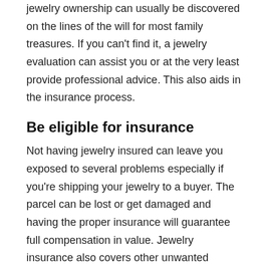jewelry ownership can usually be discovered on the lines of the will for most family treasures. If you can't find it, a jewelry evaluation can assist you or at the very least provide professional advice. This also aids in the insurance process.
Be eligible for insurance
Not having jewelry insured can leave you exposed to several problems especially if you're shipping your jewelry to a buyer. The parcel can be lost or get damaged and having the proper insurance will guarantee full compensation in value. Jewelry insurance also covers other unwanted occurrences like theft or damage. A local pawn shop, your preferred jeweler, or a professional jewelry appraiser can evaluate your jewelry pieces and provide a correct valuation of the piece, followed by a document for the insurance company.
Do your Due Diligence